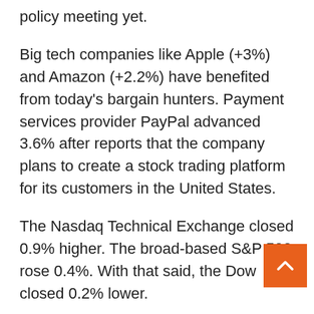policy meeting yet.
Big tech companies like Apple (+3%) and Amazon (+2.2%) have benefited from today's bargain hunters. Payment services provider PayPal advanced 3.6% after reports that the company plans to create a stock trading platform for its customers in the United States.
The Nasdaq Technical Exchange closed 0.9% higher. The broad-based S&P 500 rose 0.4%. With that said, the Dow closed 0.2% lower.
Because of Hurricane Ida, there was also the necessary attention to the oil sector. Part of the oil industry in the Gulf of Mexico was shut down due to IDA. The price of a barrel of US oil rose 0.4% to $69.01. A hurricane could cost insurance companies at least $15 billio But analysts do not rule out the possibility that